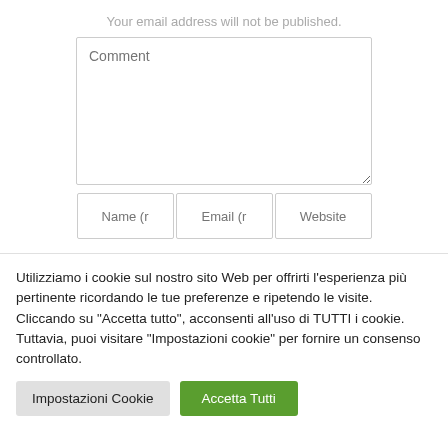Your email address will not be published.
[Figure (screenshot): Comment textarea input field with placeholder text 'Comment']
[Figure (screenshot): Three input fields: Name (r..., Email (r..., Website]
Utilizziamo i cookie sul nostro sito Web per offrirti l'esperienza più pertinente ricordando le tue preferenze e ripetendo le visite. Cliccando su "Accetta tutto", acconsenti all'uso di TUTTI i cookie. Tuttavia, puoi visitare "Impostazioni cookie" per fornire un consenso controllato.
Impostazioni Cookie
Accetta Tutti